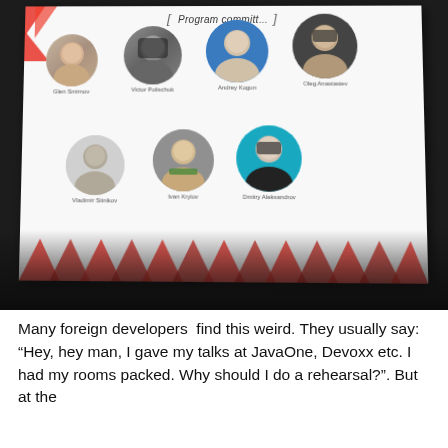[Figure (photo): A projected conference slide showing 'Program committee' with circular profile photos of 7 people: Glen Smirnov, Victor Polischuk, Andrey Kogun, Oleg Anastasiev (top row), Vladimir Sitnikov, Ivan Krylov, Dmitry Aleksandrov (bottom row). The slide has red chevron decorations at the corners. The image is taken in a dark room.]
Many foreign developers find this weird. They usually say: "Hey, hey man, I gave my talks at JavaOne, Devoxx etc. I had my rooms packed. Why should I do a rehearsal?". But at the